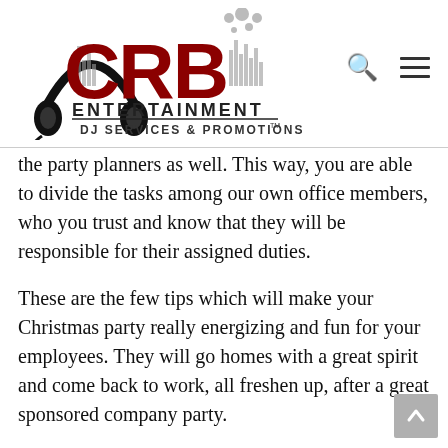[Figure (logo): CRB Entertainment DJ Services & Promotions logo with headphones graphic and decorative equalizer bars in dark red/crimson letters]
the party planners as well. This way, you are able to divide the tasks among our own office members, who you trust and know that they will be responsible for their assigned duties.
These are the few tips which will make your Christmas party really energizing and fun for your employees. They will go homes with a great spirit and come back to work, all freshen up, after a great sponsored company party.